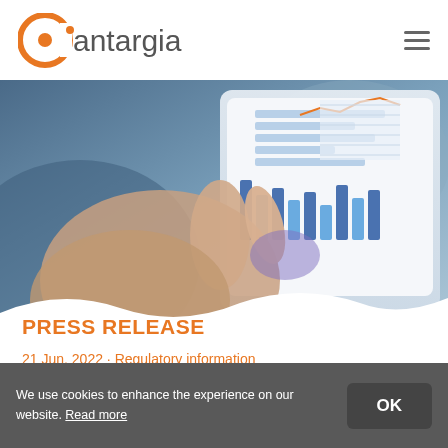[Figure (logo): Cantargia company logo with orange C-circle icon and grey lettering]
[Figure (photo): Person touching a tablet screen showing bar charts and line graphs — financial/data analytics image]
PRESS RELEASE
21 Jun, 2022 · Regulatory information
We use cookies to enhance the experience on our website. Read more
OK